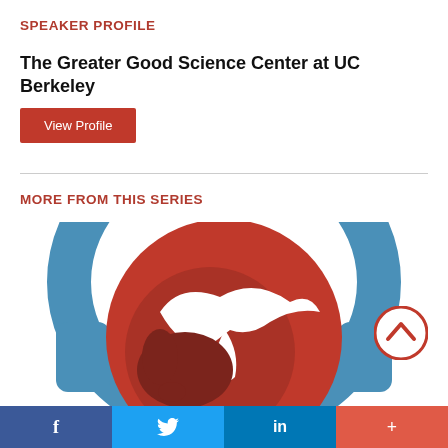SPEAKER PROFILE
The Greater Good Science Center at UC Berkeley
View Profile
MORE FROM THIS SERIES
[Figure (logo): Podcast logo showing a globe with a white dove silhouette wearing blue headphones, partially visible. A red circular scroll-up button is visible in the bottom right.]
f  Twitter bird  in  +